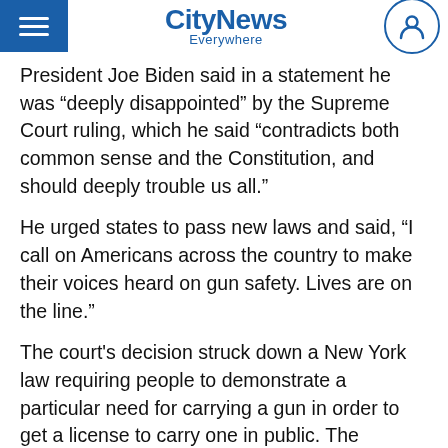CityNews Everywhere
President Joe Biden said in a statement he was “deeply disappointed” by the Supreme Court ruling, which he said "contradicts both common sense and the Constitution, and should deeply trouble us all."
He urged states to pass new laws and said, “I call on Americans across the country to make their voices heard on gun safety. Lives are on the line.”
The court's decision struck down a New York law requiring people to demonstrate a particular need for carrying a gun in order to get a license to carry one in public. The justices said that requirement violates the Second Amendment right to “keep and bear arms.”
Justice Clarence Thomas wrote for the majority that the Constitution protects “an individual’s right to carry a handgun for self-defense outside the home.” Th...